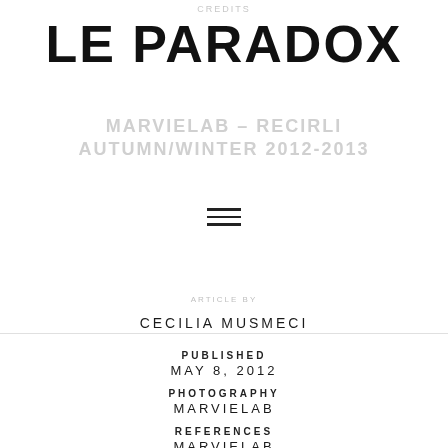CREDITS
LE PARADOX
MARVIELAB – RECIRLI
AUTUMN/WINTER 2012-2013
[Figure (other): Hamburger menu icon (three horizontal lines)]
ARTICLE BY
CECILIA MUSMECI
PUBLISHED
MAY 8, 2012
PHOTOGRAPHY
MARVIELAB
REFERENCES
MARVIELAB
SPECIAL THANKS
PETER JEVNIKAR